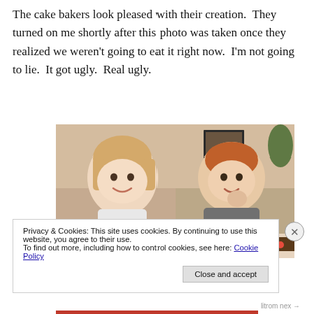The cake bakers look pleased with their creation.  They turned on me shortly after this photo was taken once they realized we weren't going to eat it right now.  I'm not going to lie.  It got ugly.  Real ugly.
[Figure (photo): Two young children — a girl with blonde hair and a boy with red hair — sit smiling behind a colorful cake decorated with M&Ms and small toy animal figurines. Indoor setting.]
Privacy & Cookies: This site uses cookies. By continuing to use this website, you agree to their use.
To find out more, including how to control cookies, see here: Cookie Policy
Close and accept